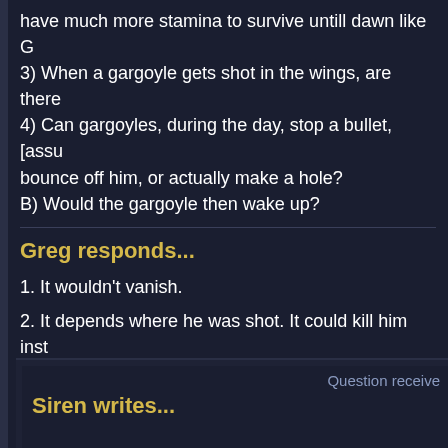have much more stamina to survive untill dawn like G
3) When a gargoyle gets shot in the wings, are there
4) Can gargoyles, during the day, stop a bullet, [assu bounce off him, or actually make a hole?
B) Would the gargoyle then wake up?
Greg responds...
1. It wouldn't vanish.
2. It depends where he was shot. It could kill him inst
3. Yes.
4. Probably make a hole, but it depends on other fac
B. No.
Question receive
Siren writes...